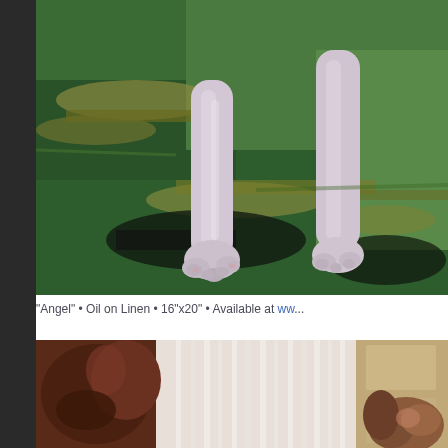[Figure (illustration): Oil painting showing the legs and paws of a white dog (Great Dane or similar large breed) standing on dark green grass with dappled light and shadow patterns. The background is various shades of green with yellow and black shadow patches.]
"Angel" • Oil on Linen • 16"x20" • Available at ww...
[Figure (illustration): Oil painting showing a dog looking out a window with sheer white curtains. Warm light filters through the window. A brown/reddish dog is visible on the left side, and what appears to be another dog's head is visible on the right. The scene is bathed in warm golden tones.]